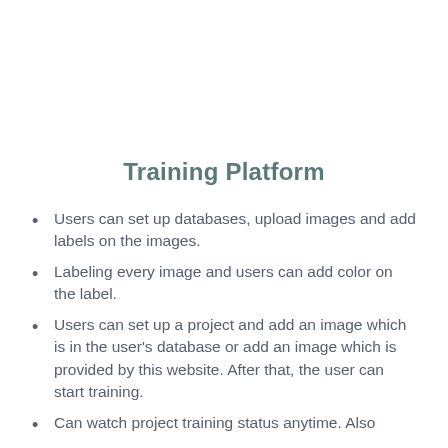Training Platform
Users can set up databases, upload images and add labels on the images.
Labeling every image and users can add color on the label.
Users can set up a project and add an image which is in the user's database or add an image which is provided by this website. After that, the user can start training.
Can watch project training status anytime. Also